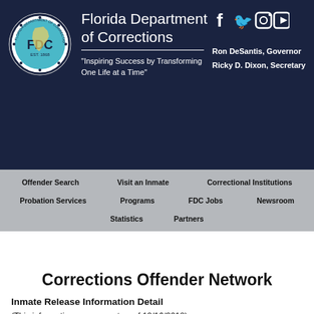[Figure (logo): Florida Department of Corrections circular seal/logo with FDC text, map of Florida, EST. 1868, stars around border]
Florida Department of Corrections
“Inspiring Success by Transforming One Life at a Time”
Ron DeSantis, Governor
Ricky D. Dixon, Secretary
[Figure (logo): Social media icons: Facebook, Twitter, Instagram, YouTube]
Offender Search
Visit an Inmate
Correctional Institutions
Probation Services
Programs
FDC Jobs
Newsroom
Statistics
Partners
Corrections Offender Network
Inmate Release Information Detail
(This information was current as of 12/16/2018)